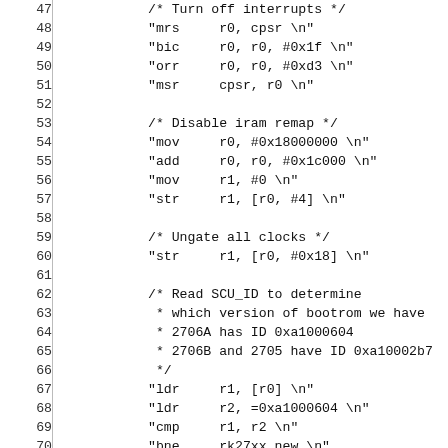Code listing lines 47-76: ARM assembly inline code with comments including interrupt disable, iram remap disable, clock ungating, SCU_ID read, and stack setup sections.